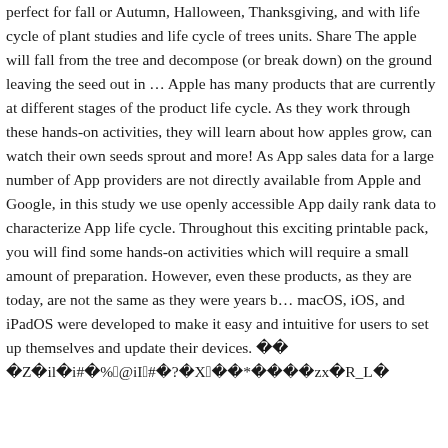perfect for fall or Autumn, Halloween, Thanksgiving, and with life cycle of plant studies and life cycle of trees units. Share The apple will fall from the tree and decompose (or break down) on the ground leaving the seed out in … Apple has many products that are currently at different stages of the product life cycle. As they work through these hands-on activities, they will learn about how apples grow, can watch their own seeds sprout and more! As App sales data for a large number of App providers are not directly available from Apple and Google, in this study we use openly accessible App daily rank data to characterize App life cycle. Throughout this exciting printable pack, you will find some hands-on activities which will require a small amount of preparation. However, even these products, as they are today, are not the same as they were years b… macOS, iOS, and iPadOS were developed to make it easy and intuitive for users to set up themselves and update their devices. �� �Z�il�i#�%�2@iI�e#�?�X�d��*����zx�R_L�